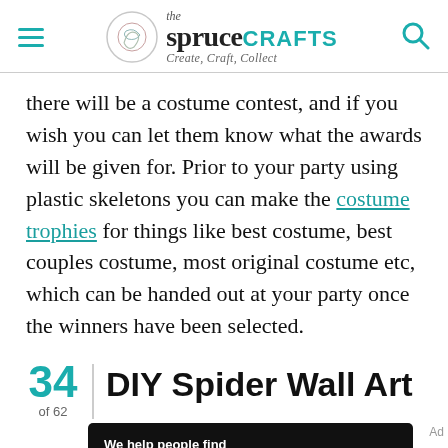the spruce CRAFTS — Create, Craft, Collect
there will be a costume contest, and if you wish you can let them know what the awards will be given for. Prior to your party using plastic skeletons you can make the costume trophies for things like best costume, best couples costume, most original costume etc, which can be handed out at your party once the winners have been selected.
34 of 62 | DIY Spider Wall Art